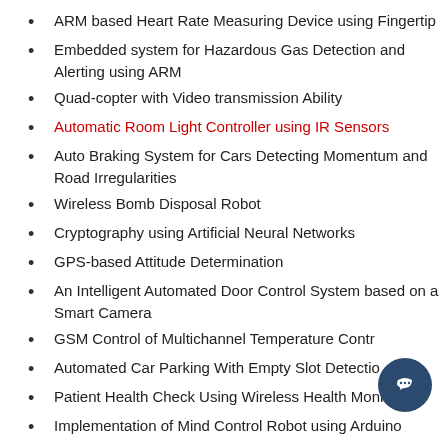ARM based Heart Rate Measuring Device using Fingertip
Embedded system for Hazardous Gas Detection and Alerting using ARM
Quad-copter with Video transmission Ability
Automatic Room Light Controller using IR Sensors
Auto Braking System for Cars Detecting Momentum and Road Irregularities
Wireless Bomb Disposal Robot
Cryptography using Artificial Neural Networks
GPS-based Attitude Determination
An Intelligent Automated Door Control System based on a Smart Camera
GSM Control of Multichannel Temperature Contr…
Automated Car Parking With Empty Slot Detectio…
Patient Health Check Using Wireless Health Monitor
Implementation of Mind Control Robot using Arduino
In case you are interested to do innovative engineering